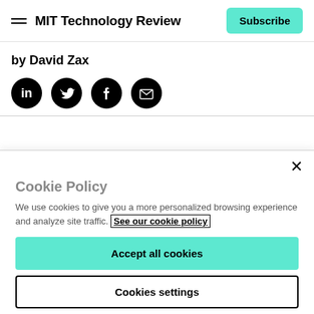MIT Technology Review | Subscribe
by David Zax
[Figure (other): Four social media icon circles: LinkedIn, Twitter, Facebook, Email]
Cookie Policy
We use cookies to give you a more personalized browsing experience and analyze site traffic. See our cookie policy
Accept all cookies
Cookies settings